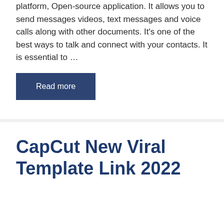platform, Open-source application. It allows you to send messages videos, text messages and voice calls along with other documents. It's one of the best ways to talk and connect with your contacts. It is essential to ...
Read more
CapCut New Viral Template Link 2022